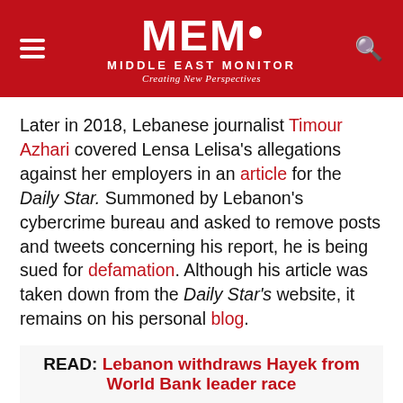[Figure (logo): Middle East Monitor (MEMO) header logo with hamburger menu icon on left and search icon on right, white text on red background. Tagline: Creating New Perspectives]
Later in 2018, Lebanese journalist Timour Azhari covered Lensa Lelisa's allegations against her employers in an article for the Daily Star. Summoned by Lebanon's cybercrime bureau and asked to remove posts and tweets concerning his report, he is being sued for defamation. Although his article was taken down from the Daily Star's website, it remains on his personal blog.
READ: Lebanon withdraws Hayek from World Bank leader race
For years, local and international